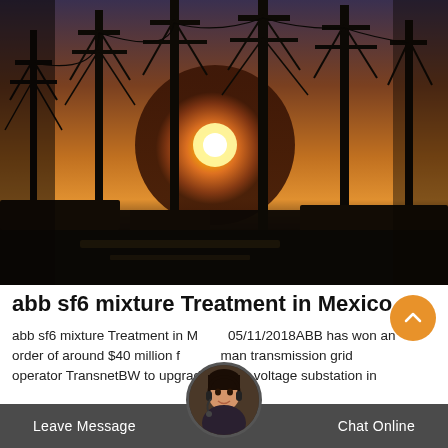[Figure (photo): Electrical power substation with tall steel transmission towers and pylons silhouetted against a vivid orange and yellow sunset sky. Foreground shows dark equipment and infrastructure on the ground.]
abb sf6 mixture Treatment in Mexico
abb sf6 mixture Treatment in Mexico 05/11/2018ABB has won an order of around $40 million from German transmission grid operator TransnetBW to upgrade a high-voltage substation in
Leave Message   Chat Online